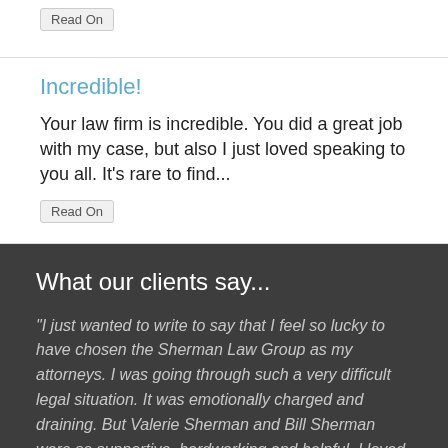Read On
Incredible!
Your law firm is incredible. You did a great job with my case, but also I just loved speaking to you all. It's rare to find...
Read On
What our clients say...
“I just wanted to write to say that I feel so lucky to have chosen the Sherman Law Group as my attorneys. I was going through such a very difficult legal situation. It was emotionally charged and draining. But Valerie Sherman and Bill Sherman were so supportive, hardworking and helpful. I loved that the firm was always updating me and letting me know what was going on in my case. You always returned my calls and emails. Thank you all for making it work out great for me.”